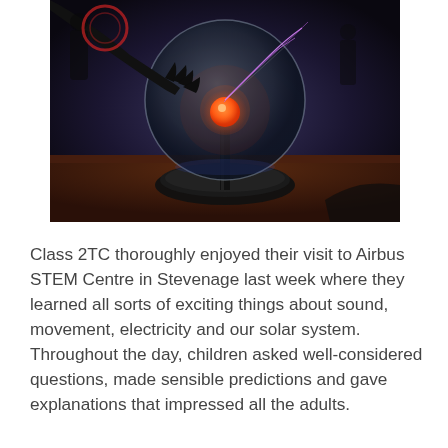[Figure (photo): A plasma ball / globe on a table with a person's hand touching it, causing electric arcs to follow the hand. Dark background with blue ambient lighting. Other people visible in the background.]
Class 2TC thoroughly enjoyed their visit to Airbus STEM Centre in Stevenage last week where they learned all sorts of exciting things about sound, movement, electricity and our solar system. Throughout the day, children asked well-considered questions, made sensible predictions and gave explanations that impressed all the adults.